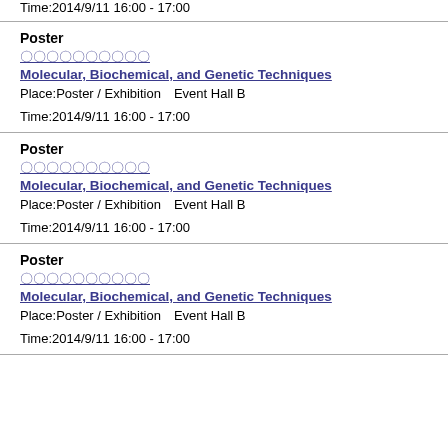Time:2014/9/11 16:00 - 17:00
Poster
〇〇〇〇〇〇〇〇〇〇
Molecular, Biochemical, and Genetic Techniques
Place:Poster / Exhibition　Event Hall B
Time:2014/9/11 16:00 - 17:00
Poster
〇〇〇〇〇〇〇〇〇〇
Molecular, Biochemical, and Genetic Techniques
Place:Poster / Exhibition　Event Hall B
Time:2014/9/11 16:00 - 17:00
Poster
〇〇〇〇〇〇〇〇〇〇
Molecular, Biochemical, and Genetic Techniques
Place:Poster / Exhibition　Event Hall B
Time:2014/9/11 16:00 - 17:00